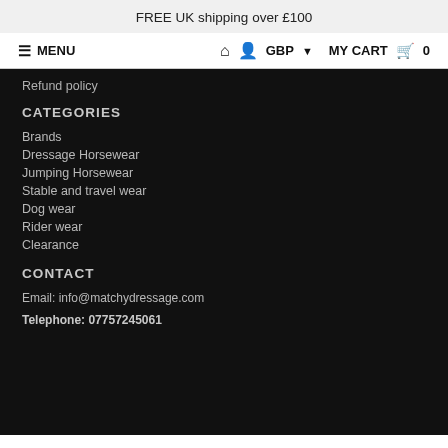FREE UK shipping over £100
≡ MENU   🏠 👤 GBP ▾   MY CART 🛒 0
Refund policy
CATEGORIES
Brands
Dressage Horsewear
Jumping Horsewear
Stable and travel wear
Dog wear
Rider wear
Clearance
CONTACT
Email: info@matchydressage.com
Telephone: 07757245061